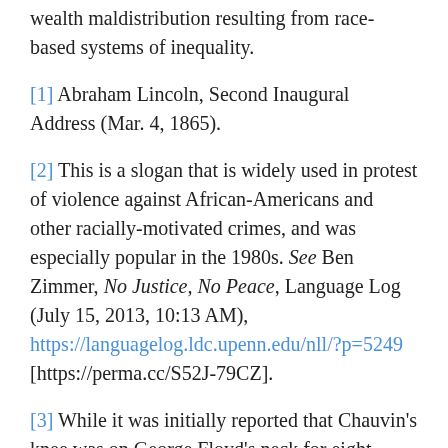wealth maldistribution resulting from race-based systems of inequality.
[1] Abraham Lincoln, Second Inaugural Address (Mar. 4, 1865).
[2] This is a slogan that is widely used in protest of violence against African-Americans and other racially-motivated crimes, and was especially popular in the 1980s. See Ben Zimmer, No Justice, No Peace, Language Log (July 15, 2013, 10:13 AM), https://languagelog.ldc.upenn.edu/nll/?p=5249 [https://perma.cc/S52J-79CZ].
[3] While it was initially reported that Chauvin's knee was on George Floyd's neck for eight minutes and forty-six seconds, the Associated Press has